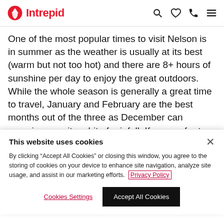Intrepid
One of the most popular times to visit Nelson is in summer as the weather is usually at its best (warm but not too hot) and there are 8+ hours of sunshine per day to enjoy the great outdoors. While the whole season is generally a great time to travel, January and February are the best months out of the three as December can experience quite a bit of rainfall. If you prefer to holiday without the
This website uses cookies

By clicking "Accept All Cookies" or closing this window, you agree to the storing of cookies on your device to enhance site navigation, analyze site usage, and assist in our marketing efforts. Privacy Policy

Cookies Settings | Accept All Cookies